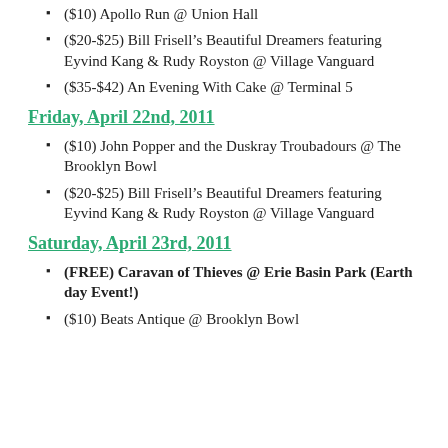($10) Apollo Run @ Union Hall
($20-$25) Bill Frisell’s Beautiful Dreamers featuring Eyvind Kang & Rudy Royston @ Village Vanguard
($35-$42) An Evening With Cake @ Terminal 5
Friday, April 22nd, 2011
($10) John Popper and the Duskray Troubadours @ The Brooklyn Bowl
($20-$25) Bill Frisell’s Beautiful Dreamers featuring Eyvind Kang & Rudy Royston @ Village Vanguard
Saturday, April 23rd, 2011
(FREE) Caravan of Thieves @ Erie Basin Park (Earth day Event!)
($10) Beats Antique @ Brooklyn Bowl